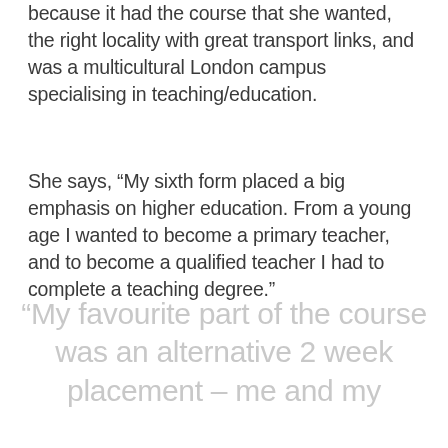because it had the course that she wanted, the right locality with great transport links, and was a multicultural London campus specialising in teaching/education.
She says, “My sixth form placed a big emphasis on higher education. From a young age I wanted to become a primary teacher, and to become a qualified teacher I had to complete a teaching degree.”
“My favourite part of the course was an alternative 2 week placement – me and my